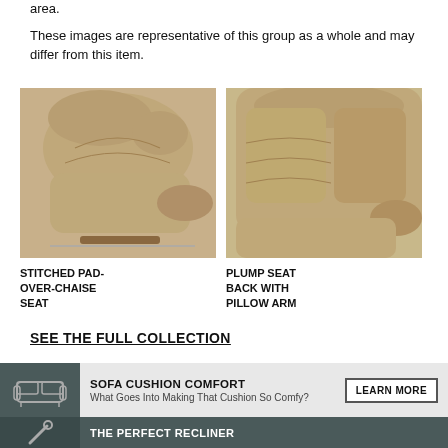area.
These images are representative of this group as a whole and may differ from this item.
[Figure (photo): Close-up photo of a beige/tan fabric recliner chair showing the stitched pad-over-chaise seat area.]
STITCHED PAD-OVER-CHAISE SEAT
[Figure (photo): Close-up photo of a beige/tan fabric recliner chair showing the plump seat back with pillow arm.]
PLUMP SEAT BACK WITH PILLOW ARM
SEE THE FULL COLLECTION
SOFA CUSHION COMFORT
What Goes Into Making That Cushion So Comfy?
THE PERFECT RECLINER